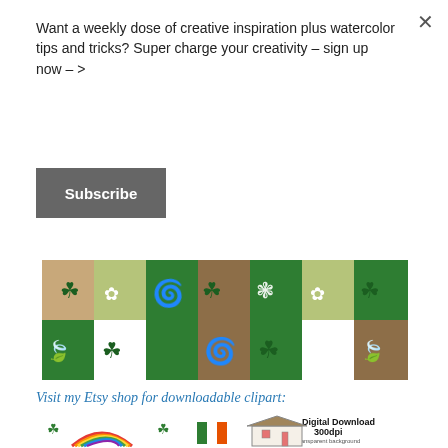Want a weekly dose of creative inspiration plus watercolor tips and tricks? Super charge your creativity – sign up now – >
Subscribe
[Figure (photo): A patchwork pattern with green, brown, white, and olive squares featuring shamrocks, swirls, and daisy/sunflower motifs in a St. Patrick's Day themed design]
Visit my Etsy shop for downloadable clipart:
[Figure (illustration): St. Patrick's Day clipart digital download illustration showing rainbows, shamrocks, pot of gold, Irish flag, and a thatched cottage. Text reads 'Digital Download 300dpi transparent background']